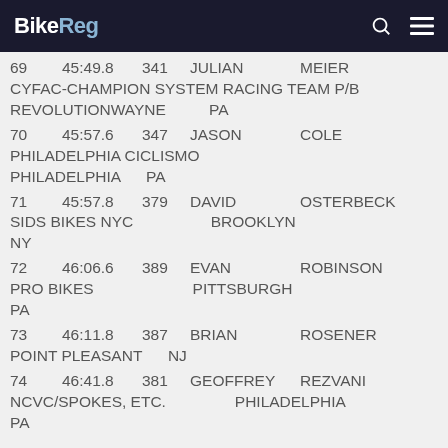BikeReg
69  45:49.8  341  JULIAN  MEIER  CYFAC-CHAMPION SYSTEM RACING TEAM P/B REVOLUTIONWAYNE  PA
70  45:57.6  347  JASON  COLE  PHILADELPHIA CICLISMO  PHILADELPHIA  PA
71  45:57.8  379  DAVID  OSTERBECK  SIDS BIKES NYC  BROOKLYN  NY
72  46:06.6  389  EVAN  ROBINSON  PRO BIKES  PITTSBURGH  PA
73  46:11.8  387  BRIAN  ROSENER  POINT PLEASANT  NJ
74  46:41.8  381  GEOFFREY  REZVANI  NCVC/SPOKES, ETC.  PHILADELPHIA  PA